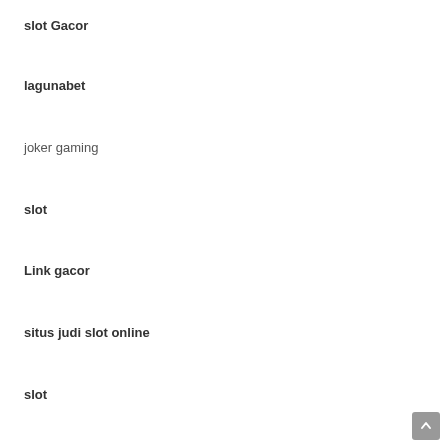slot Gacor
lagunabet
joker gaming
slot
Link gacor
situs judi slot online
slot